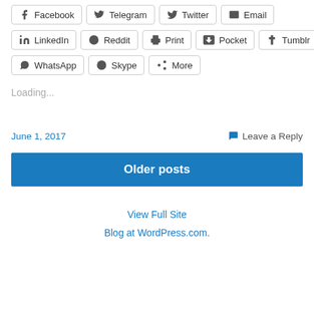Facebook | Telegram | Twitter | Email
LinkedIn | Reddit | Print | Pocket | Tumblr
WhatsApp | Skype | More
Loading...
June 1, 2017   Leave a Reply
Older posts
View Full Site
Blog at WordPress.com.